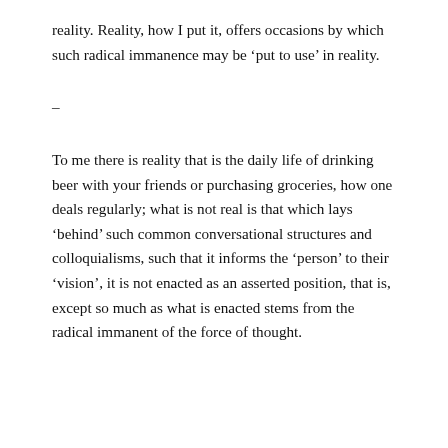reality. Reality, how I put it, offers occasions by which such radical immanence may be ‘put to use’ in reality.
–
To me there is reality that is the daily life of drinking beer with your friends or purchasing groceries, how one deals regularly; what is not real is that which lays ‘behind’ such common conversational structures and colloquialisms, such that it informs the ‘person’ to their ‘vision’, it is not enacted as an asserted position, that is, except so much as what is enacted stems from the radical immanent of the force of thought.